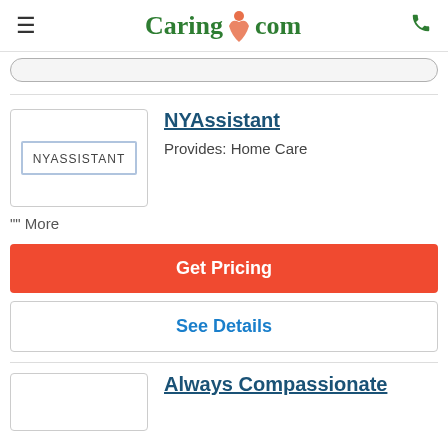Caring.com
[Figure (logo): NYASSISTANT logo box with text label inside a rectangular border]
NYAssistant
Provides: Home Care
"" More
Get Pricing
See Details
Always Compassionate